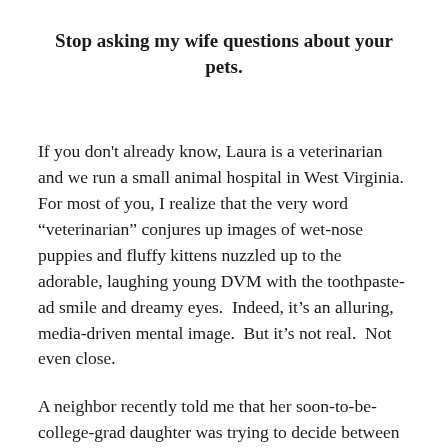Stop asking my wife questions about your pets.
If you don't already know, Laura is a veterinarian and we run a small animal hospital in West Virginia.  For most of you, I realize that the very word “veterinarian” conjures up images of wet-nose puppies and fluffy kittens nuzzled up to the adorable, laughing young DVM with the toothpaste-ad smile and dreamy eyes.  Indeed, it’s an alluring, media-driven mental image.  But it’s not real.  Not even close.
A neighbor recently told me that her soon-to-be-college-grad daughter was trying to decide between